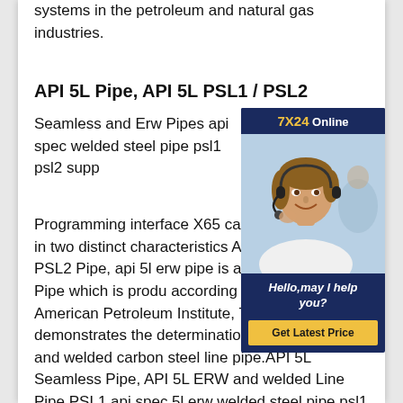systems in the petroleum and natural gas industries.
API 5L Pipe, API 5L PSL1 / PSL2
Seamless and Erw Pipes api spec welded steel pipe psl1 psl2 supp
[Figure (photo): Customer service representative wearing a headset, smiling, with a chat widget overlay showing '7X24 Online', 'Hello, may I help you?' and a 'Get Latest Price' button on a dark navy background.]
Programming interface X65 carbon pipe is created in two distinct characteristics API 5L PSL1 Pipe PSL2 Pipe, api 5l erw pipe is a kind Carbon Steel Pipe which is produced according to criteria of American Petroleum Institute, The API 5L demonstrates the determinations of consistent and welded carbon steel line pipe.API 5L Seamless Pipe, API 5L ERW and welded Line Pipe PSL1 api spec 5l erw welded steel pipe psl1 psl2